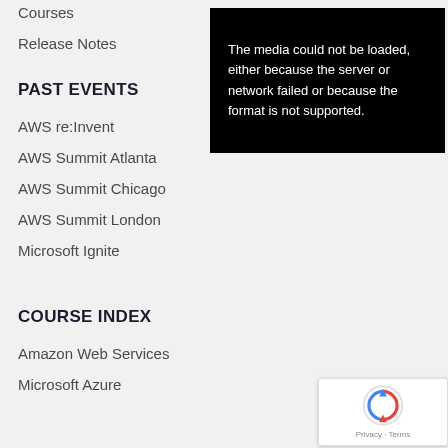Courses
Release Notes
[Figure (screenshot): Black video player box showing error message: The media could not be loaded, either because the server or network failed or because the format is not supported.]
PAST EVENTS
AWS re:Invent
AWS Summit Atlanta
AWS Summit Chicago
AWS Summit London
Microsoft Ignite
COURSE INDEX
Amazon Web Services
Microsoft Azure
[Figure (other): reCAPTCHA widget with Privacy and Terms text]